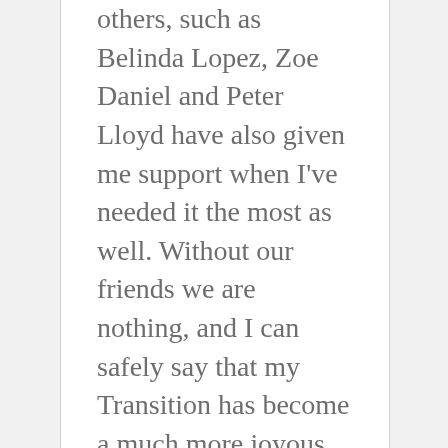others, such as Belinda Lopez, Zoe Daniel and Peter Lloyd have also given me support when I've needed it the most as well. Without our friends we are nothing, and I can safely say that my Transition has become a much more joyous and less daunting affair since I found both myself and such awesome people to embrace life